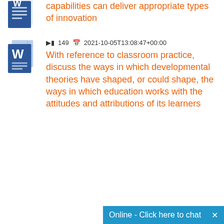[Figure (illustration): Microsoft Word document icon, partially cropped at top]
capabilities can deliver appropriate types of innovation
[Figure (illustration): Microsoft Word document icon]
149  2021-10-05T13:08:47+00:00
With reference to classroom practice, discuss the ways in which developmental theories have shaped, or could shape, the ways in which education works with the attitudes and attributions of its learners
Online - Click here to chat  ×